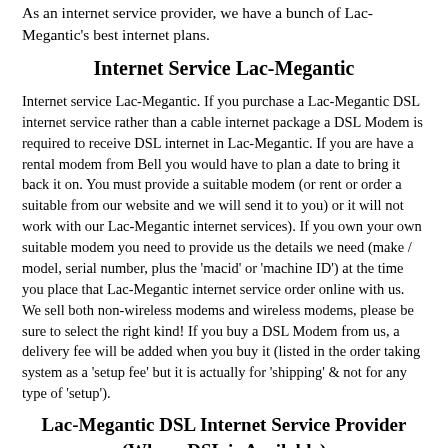As an internet service provider, we have a bunch of Lac-Megantic's best internet plans.
Internet Service Lac-Megantic
Internet service Lac-Megantic. If you purchase a Lac-Megantic DSL internet service rather than a cable internet package a DSL Modem is required to receive DSL internet in Lac-Megantic. If you are have a rental modem from Bell you would have to plan a date to bring it back it on. You must provide a suitable modem (or rent or order a suitable from our website and we will send it to you) or it will not work with our Lac-Megantic internet services). If you own your own suitable modem you need to provide us the details we need (make / model, serial number, plus the 'macid' or 'machine ID') at the time you place that Lac-Megantic internet service order online with us. We sell both non-wireless modems and wireless modems, please be sure to select the right kind! If you buy a DSL Modem from us, a delivery fee will be added when you buy it (listed in the order taking system as a 'setup fee' but it is actually for 'shipping' & not for any type of 'setup').
Lac-Megantic DSL Internet Service Provider (Where DSL is Available)